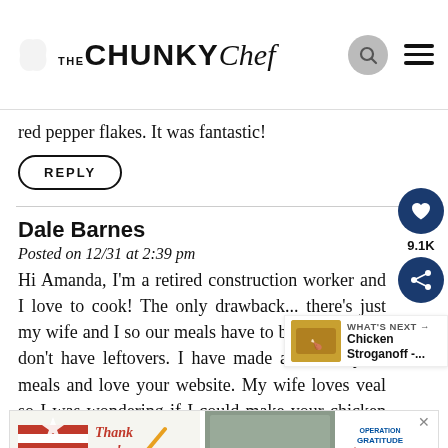THE CHUNKY Chef
red pepper flakes. It was fantastic!
REPLY
Dale Barnes
Posted on 12/31 at 2:39 pm
Hi Amanda, I'm a retired construction worker and I love to cook! The only drawback... there's just my wife and I so our meals have to be small so we don't have leftovers. I have made a few of your meals and love your website. My wife loves veal so I was wondering if I could make your chicken marsala recipe only use veal instead of chicken and use the same marsala sauce...
[Figure (other): Operation Gratitude advertisement banner with 'Thank you!' text and military imagery]
WHAT'S NEXT → Chicken Stroganoff -...
9.1K